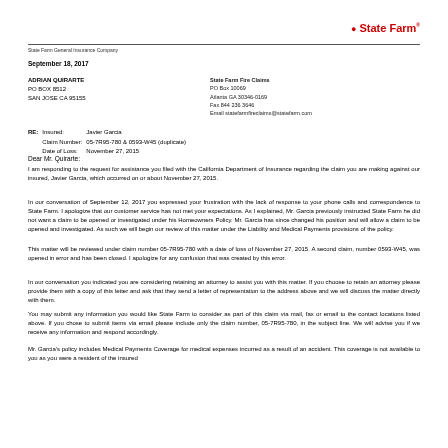State Farm General Insurance Company
September 18, 2017
ADRIAN QUIRARTE
PO BOX 8512
SAN JOSE CA 95155
State Farm Fire Claims
PO Box 10069
Atlanta GA 30346-0169
Fax 844 236 3646
Email statefarmfireclaims@statefarm.com
RE:	Insured:	Javier Garcia
	Claim Number:	05-7R95-780 & 0593-W45 (duplicate)
	Date of Loss:	November 27, 2015
Dear Mr. Quirarte:
I am responding to the request for assistance you filed with the California Department of Insurance regarding the claim you are making against our insured, Javier Garcia, which occurred on or about November 27, 2015.
In our conversation of September 12, 2017 you expressed your frustration with the lack of response to your phone calls and correspondence to State Farm. I apologize that our customer service has not met your expectations. As I explained, Mr. Garcia previously instructed State Farm he did not want a claim to be opened or investigated under his Homeowners Policy. Mr. Garcia has since changed his position and will allow a claim to be opened and investigated. As such we will begin our review of this matter under the Liability and Medical Payments provisions of the policy.
This matter will be reviewed under claim number 05-7R95-780 with a date of loss of November 27, 2015. A second claim, number 0593-W45, was opened in error and has been closed. I apologize for any confusion that was created by this error.
In our conversation you indicated you are considering retaining an attorney to assist you with this matter. If you choose to retain an attorney please provide them with a copy of this letter and ask that they send a letter of representation to the address above and we will discuss the matter directly with them.
You may submit any information you would like State Farm to consider as part of this claim via mail, fax or email to the contact locations listed above. If you chose to submit items via email please include only the claim number, 05-7R95-780, in the subject line. We will advise you if we receive any information and respond accordingly.
Mr. Garcia's policy includes Medical Payments Coverage for medical expenses incurred as a result of an accident. This coverage is not available to you as you were a resident of the insured